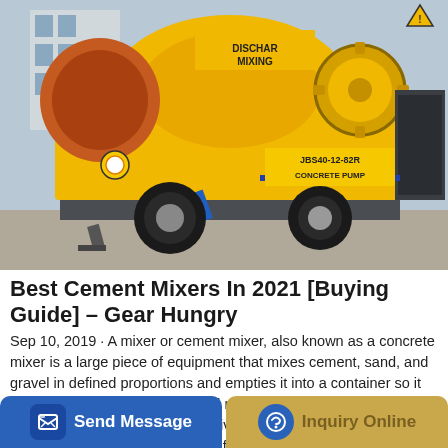[Figure (photo): Yellow concrete pump mixer machine (JBS40-12-82R Concrete Pump) with discharge mixing barrel, large gear, wheels, on a trailer, parked outdoors.]
Best Cement Mixers In 2021 [Buying Guide] – Gear Hungry
Sep 10, 2019 · A mixer or cement mixer, also known as a concrete mixer is a large piece of equipment that mixes cement, sand, and gravel in defined proportions and empties it into a container so it can be used for construction and maintenance purposes. It provides a more efficient alternative to mixing concrete manually in wheelbarrows and concrete tubs for